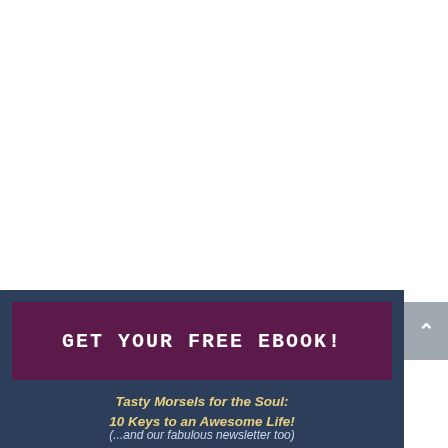GET YOUR FREE EBOOK!
Tasty Morsels for the Soul:
10 Keys to an Awesome Life!
(...and our fabulous newsletter too)